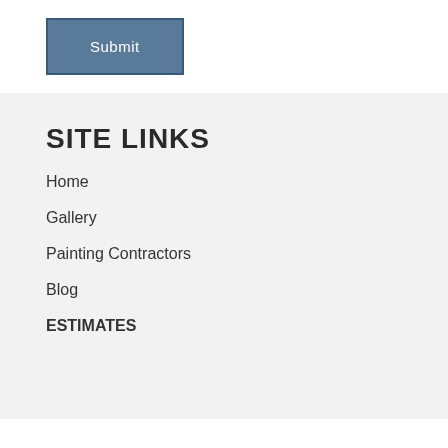[Figure (screenshot): A blue-gray Submit button with white text and a darker blue border]
SITE LINKS
Home
Gallery
Painting Contractors
Blog
ESTIMATES